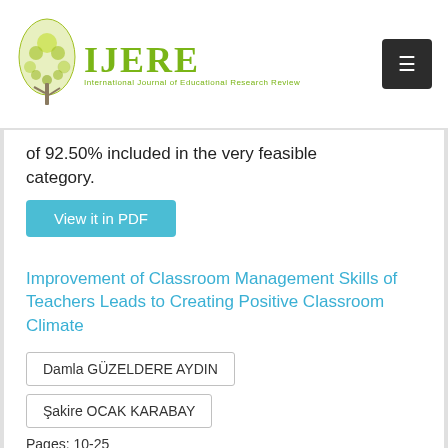IJERE — International Journal of Educational Research Review
of 92.50% included in the very feasible category.
View it in PDF
Improvement of Classroom Management Skills of Teachers Leads to Creating Positive Classroom Climate
Damla GÜZELDERE AYDIN
Şakire OCAK KARABAY
Pages: 10-25
This study aims to evaluate the effects of